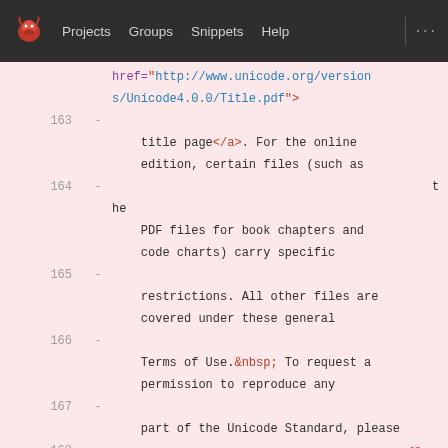Projects  Groups  Snippets  Help
href="http://www.unicode.org/versions/Unicode4.0.0/Title.pdf">
163  -  title page</a>. For the online edition, certain files (such as
164  -                                   the PDF files for book chapters and code charts) carry specific
165  -  restrictions. All other files are covered under these general
166  -  Terms of Use.&nbsp; To request a permission to reproduce any
167  -  part of the Unicode Standard, please
168  -                                                                 <a href="http://www.unicode.org/contacts.html">contact the
169  -